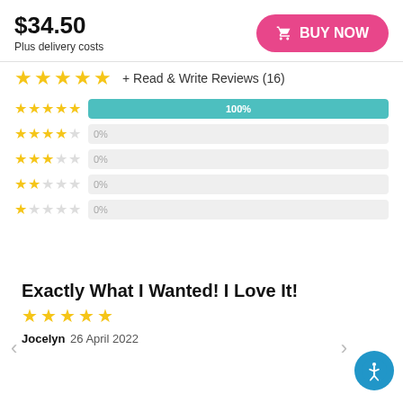$34.50
Plus delivery costs
BUY NOW
+ Read & Write Reviews (16)
[Figure (bar-chart): Star rating distribution]
Exactly What I Wanted! I Love It!
★★★★★
Jocelyn 26 April 2022